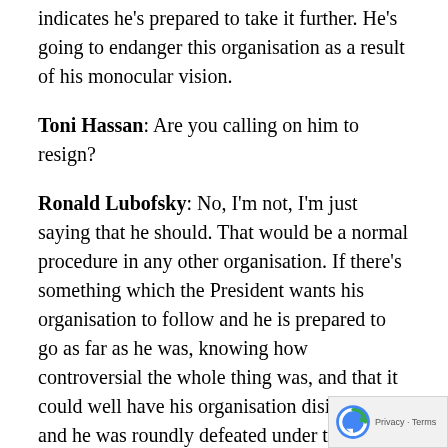indicates he's prepared to take it further. He's going to endanger this organisation as a result of his monocular vision.
Toni Hassan: Are you calling on him to resign?
Ronald Lubofsky: No, I'm not, I'm just saying that he should. That would be a normal procedure in any other organisation. If there's something which the President wants his organisation to follow and he is prepared to go as far as he was, knowing how controversial the whole thing was, and that it could well have his organisation disintegrate, and he was roundly defeated under those circumstances I'm surprised that he's still there.